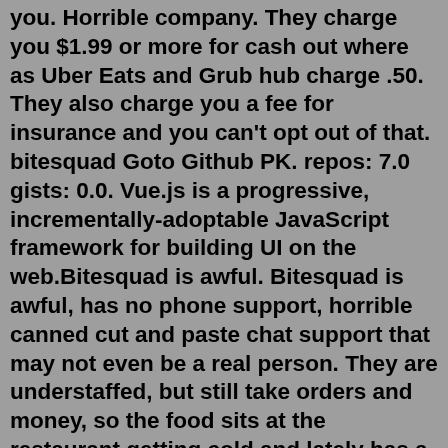you. Horrible company. They charge you $1.99 or more for cash out where as Uber Eats and Grub hub charge .50. They also charge you a fee for insurance and you can't opt out of that. bitesquad Goto Github PK. repos: 7.0 gists: 0.0. Vue.js is a progressive, incrementally-adoptable JavaScript framework for building UI on the web.Bitesquad is awful. Bitesquad is awful, has no phone support, horrible canned cut and paste chat support that may not even be a real person. They are understaffed, but still take orders and money, so the food sits at the restaurant getting cold and lately has a 100% late delivery rate. Use one of the many other delivery groups in the area. Jun 11, 2022 · BiteSquad Review. BiteSquad is one of the best gig apps that offers decent hourly pay of $16 to $22 and flexible working hours suitable for those looking to supplement their main income. It is also the best app for customers looking for urgent food deliveries; food gets delivered within 1 hour from purchase time. Bite Squad is the (legitimate) lovechild of 2 friends with a passion for entrepreneurship and...food!